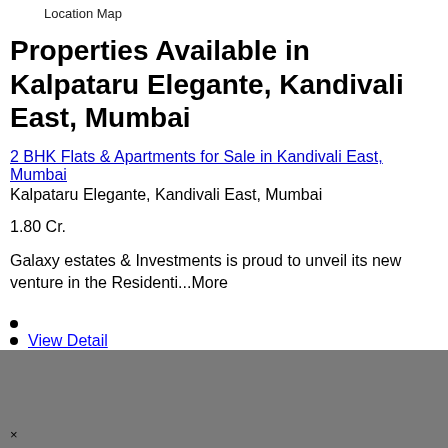Location Map
Properties Available in Kalpataru Elegante, Kandivali East, Mumbai
2 BHK Flats & Apartments for Sale in Kandivali East, Mumbai
Kalpataru Elegante, Kandivali East, Mumbai
1.80 Cr.
Galaxy estates & Investments is proud to unveil its new venture in the Residenti...More
View Detail
[Figure (other): Gray box area at bottom of page, partially visible map or image area with close (x) button]